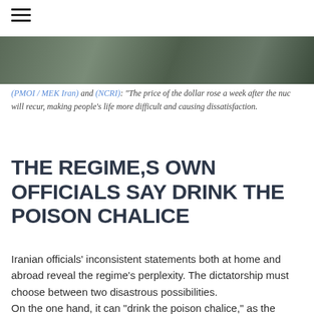[Figure (photo): Partial photo strip at top of article page, showing outdoor scene]
(PMOI / MEK Iran) and (NCRI): "The price of the dollar rose a week after the nuc will recur, making people's life more difficult and causing dissatisfaction.
THE REGIME,S OWN OFFICIALS SAY DRINK THE POISON CHALICE
Iranian officials' inconsistent statements both at home and abroad reveal the regime's perplexity. The dictatorship must choose between two disastrous possibilities.
On the one hand, it can "drink the poison chalice," as the regime's own officials like to say, by retracing its